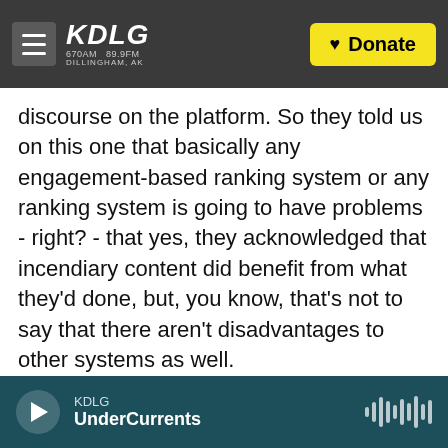KDLG 670AM 89.9FM DILLINGHAM, AK | Donate
discourse on the platform. So they told us on this one that basically any engagement-based ranking system or any ranking system is going to have problems - right? - that yes, they acknowledged that incendiary content did benefit from what they'd done, but, you know, that's not to say that there aren't disadvantages to other systems as well.
GROSS: So one of your articles in The Journal reports that in developing countries, Facebook was often used by drug cartels, human traffickers, used to promote violence against ethnic groups. And developing countries are actually very important to
KDLG | UnderCurrents